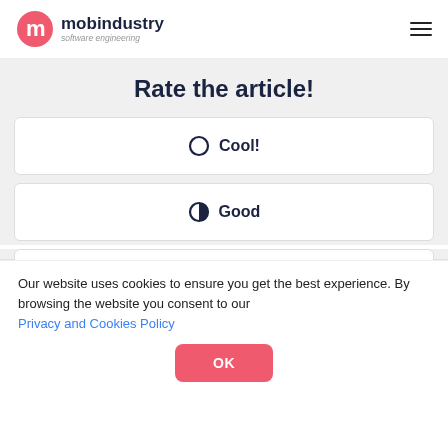mobindustry software engineering
Rate the article!
Cool!
Good
Our website uses cookies to ensure you get the best experience. By browsing the website you consent to our Privacy and Cookies Policy